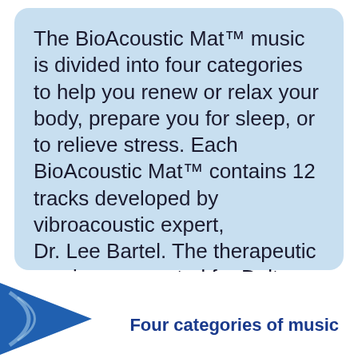The BioAcoustic Mat™ music is divided into four categories to help you renew or relax your body, prepare you for sleep, or to relieve stress. Each BioAcoustic Mat™ contains 12 tracks developed by vibroacoustic expert, Dr. Lee Bartel. The therapeutic music was created for Delta, Theta, Alpha, Beta, or Gamma frequencies for entrainment.
[Figure (illustration): Blue triangular arrow logo in bottom-left corner]
Four categories of music